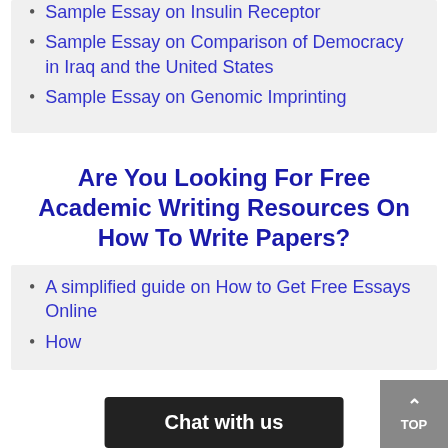Sample Essay on Insulin Receptor
Sample Essay on Comparison of Democracy in Iraq and the United States
Sample Essay on Genomic Imprinting
Are You Looking For Free Academic Writing Resources On How To Write Papers?
A simplified guide on How to Get Free Essays Online
How … online